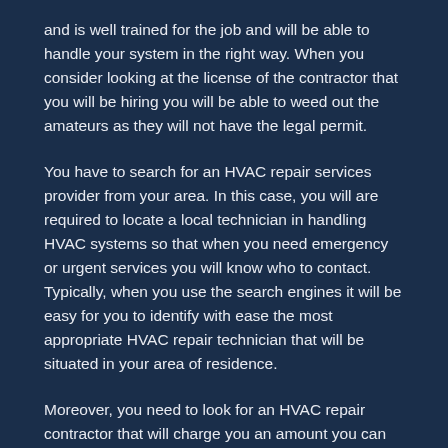and is well trained for the job and will be able to handle your system in the right way. When you consider looking at the license of the contractor that you will be hiring you will be able to weed out the amateurs as they will not have the legal permit.
You have to search for an HVAC repair services provider from your area. In this case, you will are required to locate a local technician in handling HVAC systems so that when you need emergency or urgent services you will know who to contact. Typically, when you use the search engines it will be easy for you to identify with ease the most appropriate HVAC repair technician that will be situated in your area of residence.
Moreover, you need to look for an HVAC repair contractor that will charge you an amount you can afford. The contractors are so many and for this reason, you need to make sure that you are asking for quotes from several contractors so that you can get to make your comparison. It is always significant that you get to find the most